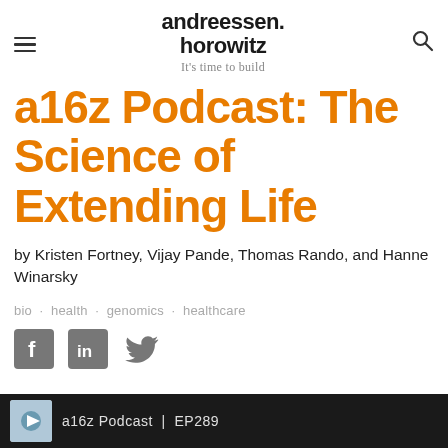andreessen. horowitz — It's time to build
a16z Podcast: The Science of Extending Life
by Kristen Fortney, Vijay Pande, Thomas Rando, and Hanne Winarsky
bio · health · genomics · healthcare
[Figure (other): Social share icons: Facebook, LinkedIn, Twitter]
[Figure (screenshot): Podcast player bar showing a16z Podcast | EP289]